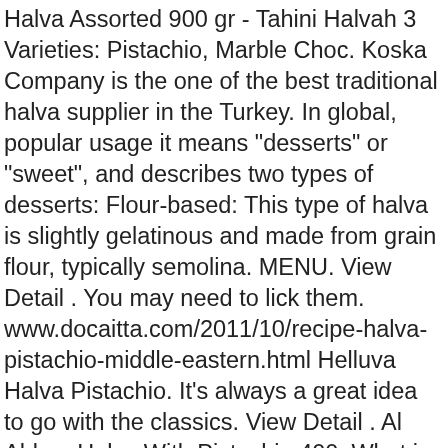Halva Assorted 900 gr - Tahini Halvah 3 Varieties: Pistachio, Marble Choc. Koska Company is the one of the best traditional halva supplier in the Turkey. In global, popular usage it means "desserts" or "sweet", and describes two types of desserts: Flour-based: This type of halva is slightly gelatinous and made from grain flour, typically semolina. MENU. View Detail . You may need to lick them. www.docaitta.com/2011/10/recipe-halva-pistachio-middle-eastern.html Helluva Halva Pistachio. It's always a great idea to go with the classics. View Detail . Al Ahlam Halva With Pistachio 400gWhat is Halva?Halva is a sweet dense sesame based dessert that comes with a variety of flavours. We use high-quality small Pistachios that are greener and make this halva extra luxurious. Sumsum Halva is handmade with healthy, preservatives free, high-quality ingredients. Shop now! A really easy halva and pistachio cookie recipe that is great for everyday baking or any special occasion. Koska Halva with Pistachio is produced from Tahini (Sesame Oil) and Pistachio. Tthe delicious eastern Mediterranean treat enjoyed by so many for generations. Tahini